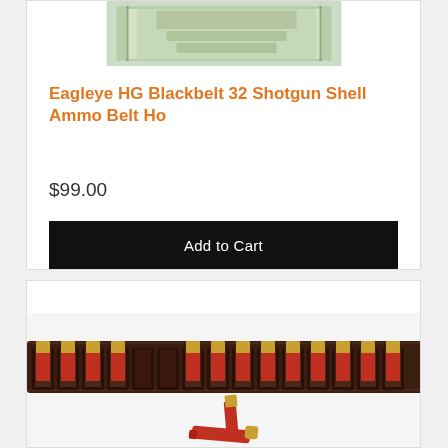[Figure (photo): Product image of Eagleye HG Blackbelt 32 Shotgun Shell Ammo Belt, partially visible at top]
Eagleye HG Blackbelt 32 Shotgun Shell Ammo Belt Ho
$99.00
Add to Cart
[Figure (photo): Close-up photo of a leather shotgun shell ammo belt with red and gold shells loaded in loops, with two loose shells in the foreground]